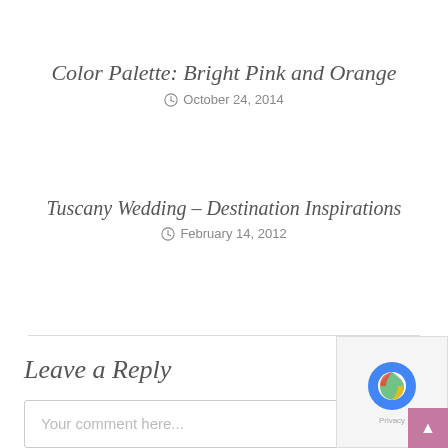Color Palette: Bright Pink and Orange
October 24, 2014
Tuscany Wedding – Destination Inspirations
February 14, 2012
Leave a Reply
Your comment here...